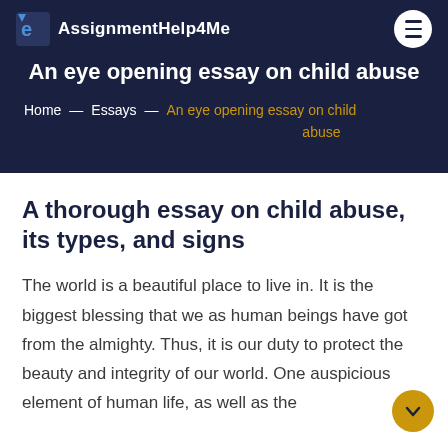Assignment Help 4 Me
An eye opening essay on child abuse
Home — Essays — An eye opening essay on child abuse
A thorough essay on child abuse, its types, and signs
The world is a beautiful place to live in. It is the biggest blessing that we as human beings have got from the almighty. Thus, it is our duty to protect the beauty and integrity of our world. One auspicious element of human life, as well as the